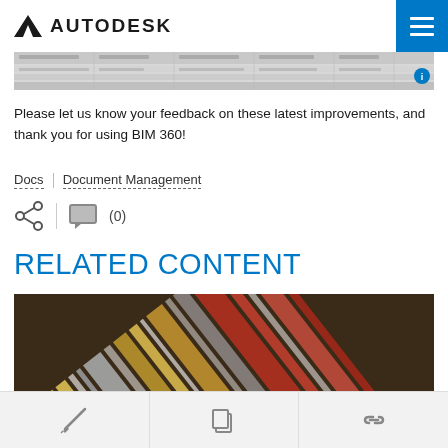AUTODESK
[Figure (screenshot): Partial screenshot of BIM 360 document management interface showing a table/spreadsheet view]
Please let us know your feedback on these latest improvements, and thank you for using BIM 360!
Docs | Document Management
[Figure (infographic): Share icon and comment icon with (0) count]
RELATED CONTENT
[Figure (illustration): Colorful diagonal streaks image — abstract lines in gold, red, white, brown, gray colors]
[Figure (infographic): Bottom toolbar with pencil/edit icon, copy/documents icon, and link/chain icon]